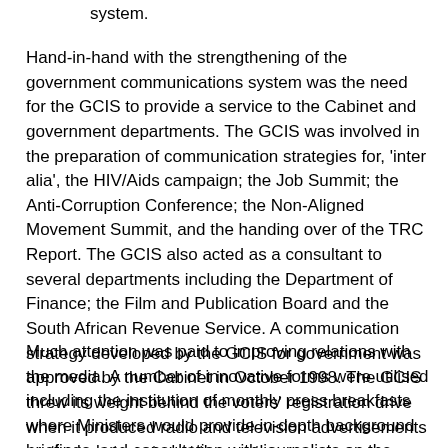system.
Hand-in-hand with the strengthening of the government communications system was the need for the GCIS to provide a service to the Cabinet and government departments. The GCIS was involved in the preparation of communication strategies for, 'inter alia', the HIV/Aids campaign; the Job Summit; the Anti-Corruption Conference; the Non-Aligned Movement Summit, and the handing over of the TRC Report. The GCIS also acted as a consultant to several departments including the Department of Finance; the Film and Publication Board and the South African Revenue Service. A communication strategy developed by the GCIS for government was approved by the Cabinet in October 1998. The GCIS threw its weight behind the voters' registration drive when it produced radio and television advertisements particularly targeted at the youth.
Much attention was paid to improving relations with the media. A number of innovative forms were utilised including the institution of monthly press breakfasts where Ministers would provide in-depth background briefings, and consultation with journalists on the future of the Parliamentary Briefing Week. Community media were also placed on an electronic network for government and development